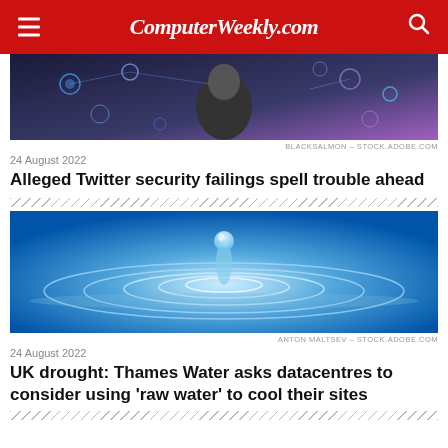ComputerWeekly.com
[Figure (photo): Person holding smartphone with digital icons, cybersecurity themed image]
BLACKSALMON – STOCK.ADOBE.COM
24 August 2022
Alleged Twitter security failings spell trouble ahead
[Figure (photo): Water droplet creating ripples in blue water, water conservation themed image]
ANTON MALTSEV – STOCK.ADOBE.COM
24 August 2022
UK drought: Thames Water asks datacentres to consider using 'raw water' to cool their sites